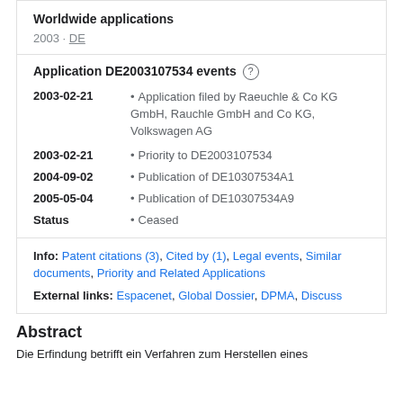Worldwide applications
2003 · DE
Application DE2003107534 events ⓘ
2003-02-21 • Application filed by Raeuchle & Co KG GmbH, Rauchle GmbH and Co KG, Volkswagen AG
2003-02-21 • Priority to DE2003107534
2004-09-02 • Publication of DE10307534A1
2005-05-04 • Publication of DE10307534A9
Status • Ceased
Info: Patent citations (3), Cited by (1), Legal events, Similar documents, Priority and Related Applications
External links: Espacenet, Global Dossier, DPMA, Discuss
Abstract
Die Erfindung betrifft ein Verfahren zum Herstellen eines